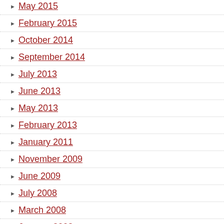May 2015
February 2015
October 2014
September 2014
July 2013
June 2013
May 2013
February 2013
January 2011
November 2009
June 2009
July 2008
March 2008
January 2008